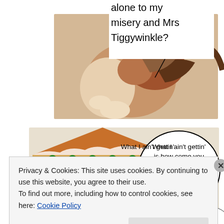[Figure (photo): Comic panel top: speech bubble text 'alone to my misery and Mrs Tiggywinkle?' with black arrow pointer, overlaid on photo of two animals (hamster/gerbil and cat or small animals hugging/nuzzling)]
[Figure (photo): Comic panel bottom: photo of a hamster/gerbil wearing a green hat next to a decorated gingerbread house with M&Ms, with speech bubble 'What I ain't gettin' is how come you was doin' anythin' Shey said']
Privacy & Cookies: This site uses cookies. By continuing to use this website, you agree to their use.
To find out more, including how to control cookies, see here: Cookie Policy
Close and accept